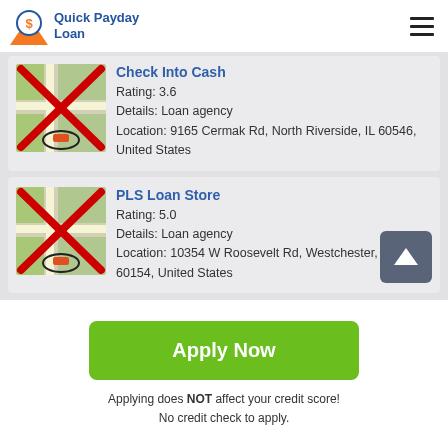[Figure (logo): Quick Payday Loan logo with orange/blue icon and blue text]
[Figure (screenshot): Check Into Cash listing card with map thumbnail (red X), Rating: 3.6, Details: Loan agency, Location: 9165 Cermak Rd, North Riverside, IL 60546, United States]
[Figure (screenshot): PLS Loan Store listing card with map thumbnail (red X), Rating: 5.0, Details: Loan agency, Location: 10354 W Roosevelt Rd, Westchester, IL 60154, United States]
Apply Now
Applying does NOT affect your credit score!
No credit check to apply.